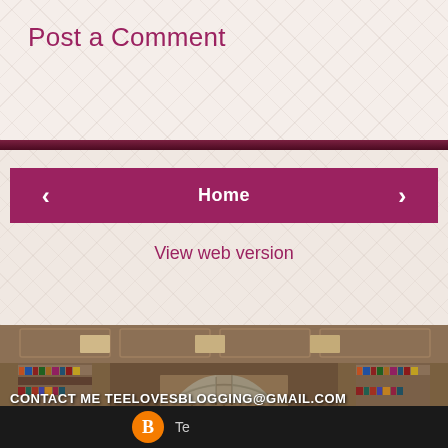Post a Comment
Home
View web version
[Figure (photo): Interior photo of a classic home library/study with built-in bookshelves on both sides filled with books, a large arched window with grid panes in the center, decorative wood paneling and coffered ceiling, warm brown/tan color palette.]
CONTACT ME TEELOVESBLOGGING@GMAIL.COM